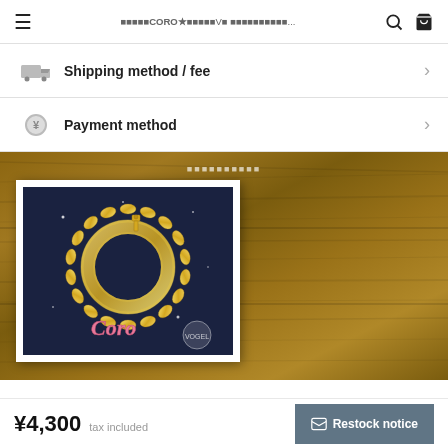□□□□□CORO★□□□□□V□□□□□□□□□□□□...
Shipping method / fee
Payment method
[Figure (photo): Product image: gold chain link bracelet/necklace in a wreath shape with a small character charm, displayed on dark navy background with sparkle effects and pink 'Coro' logo text]
¥4,300  tax included
Restock notice